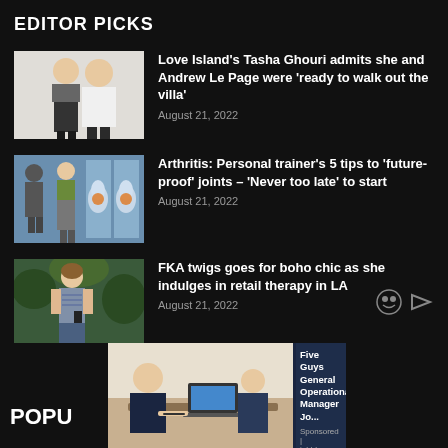EDITOR PICKS
[Figure (photo): Couple posing together, woman in grey crop top, man in white shirt]
Love Island's Tasha Ghouri admits she and Andrew Le Page were 'ready to walk out the villa'
August 21, 2022
[Figure (photo): Medical/arthritis image showing glowing knee joints with people walking in background]
Arthritis: Personal trainer's 5 tips to 'future-proof' joints – 'Never too late' to start
August 21, 2022
[Figure (photo): Woman in boho style clothing standing outdoors among green plants]
FKA twigs goes for boho chic as she indulges in retail therapy in LA
August 21, 2022
POPU
Five Guys General Operational Manager Jo...
Sponsored | jobble.com